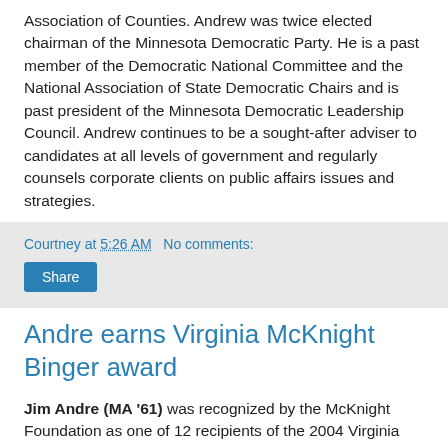Association of Counties. Andrew was twice elected chairman of the Minnesota Democratic Party. He is a past member of the Democratic National Committee and the National Association of State Democratic Chairs and is past president of the Minnesota Democratic Leadership Council. Andrew continues to be a sought-after adviser to candidates at all levels of government and regularly counsels corporate clients on public affairs issues and strategies.
Courtney at 5:26 AM   No comments:
Share
Andre earns Virginia McKnight Binger award
Jim Andre (MA '61) was recognized by the McKnight Foundation as one of 12 recipients of the 2004 Virginia McKnight Binger Awards in Human Service. See the full